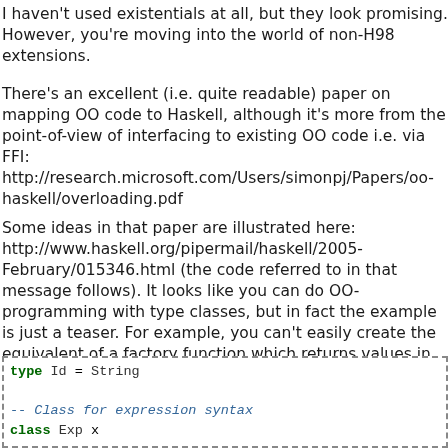I haven't used existentials at all, but they look promising. However, you're moving into the world of non-H98 extensions.
There's an excellent (i.e. quite readable) paper on mapping OO code to Haskell, although it's more from the point-of-view of interfacing to existing OO code i.e. via FFI: http://research.microsoft.com/Users/simonpj/Papers/oo-haskell/overloading.pdf
Some ideas in that paper are illustrated here: http://www.haskell.org/pipermail/haskell/2005-February/015346.html (the code referred to in that message follows). It looks like you can do OO-programming with type classes, but in fact the example is just a teaser. For example, you can't easily create the equivalent of a factory function which returns values in class Interpret (this is a consequence of the type-based, rather than value-based, dispatching mechanism):
type Id = String

-- Class for expression syntax
class Exp x

-- Expression syntax so far; could be extended
data Zero = Zero
data Exp...